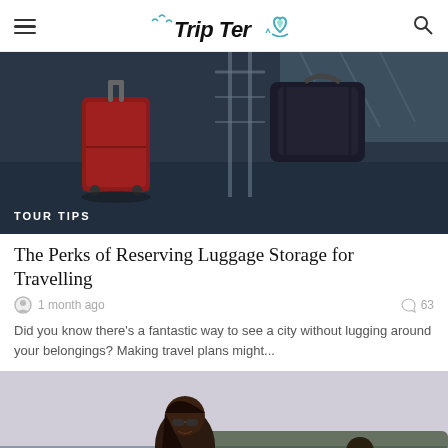TripTer (logo)
[Figure (photo): Airport luggage scene with a red suitcase and a dark bag on a trolley, dark blue-toned photo with 'TOUR TIPS' label overlay]
The Perks of Reserving Luggage Storage for Travelling
1 month ago   63
Did you know there's a fantastic way to see a city without lugging around your belongings? Making travel plans might...
[Figure (photo): Two people outdoors near water, a woman with sunglasses smiling in foreground, a man in background, hazy sky]